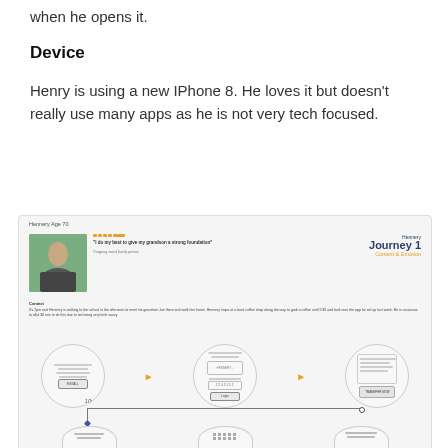when he opens it.
Device
Henry is using a new IPhone 8. He loves it but doesn't really use many apps as he is not very tech focused.
[Figure (infographic): A UX persona/journey map for 'Hennery Age 70' showing Journey 1: Context & Emotion. Contains a photo of an older man, a quote 'I do my best to give my grandson a strong foundation', journey context text about walking to school, and three rows of circular wireframe sketches connected by arrows showing user flow steps with a connector line.]